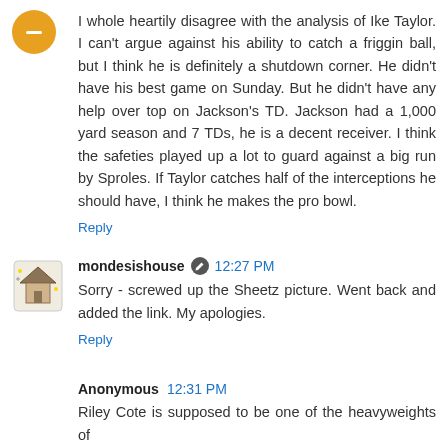[Figure (illustration): Orange circular avatar with a minus/dash icon (Blogger default avatar)]
I whole heartily disagree with the analysis of Ike Taylor. I can't argue against his ability to catch a friggin ball, but I think he is definitely a shutdown corner. He didn't have his best game on Sunday. But he didn't have any help over top on Jackson's TD. Jackson had a 1,000 yard season and 7 TDs, he is a decent receiver. I think the safeties played up a lot to guard against a big run by Sproles. If Taylor catches half of the interceptions he should have, I think he makes the pro bowl.
Reply
[Figure (illustration): Small house/blog icon avatar for mondesishouse]
mondesishouse  12:27 PM
Sorry - screwed up the Sheetz picture. Went back and added the link. My apologies.
Reply
Anonymous  12:31 PM
Riley Cote is supposed to be one of the heavyweights of